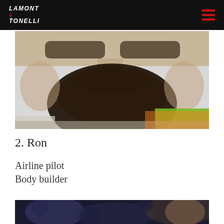LAMONT & TONELLI
[Figure (photo): Close-up photo of a man's face with a large dark beard, wearing a green high-visibility jacket, taken in bright/overcast outdoor light.]
2. Ron
Airline pilot
Body builder
[Figure (photo): Bottom cropped photo showing a dark blurred background with a partially visible face/figure, beginning of a second person's photo.]